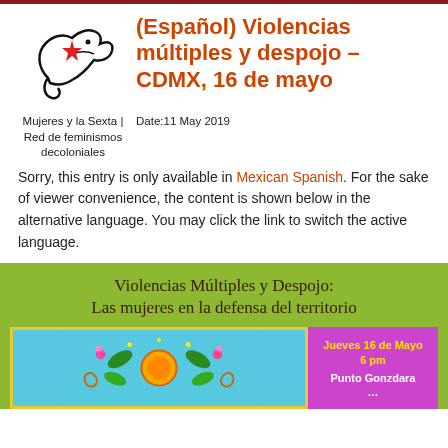(Español) Violencias múltiples y despojo – CDMX, 16 de mayo
Mujeres y la Sexta | Red de feminismos decoloniales
Date: 11 May 2019
Sorry, this entry is only available in Mexican Spanish. For the sake of viewer convenience, the content is shown below in the alternative language. You may click the link to switch the active language.
[Figure (illustration): Event poster with olive/green background. Title reads 'Violencias Múltiples y Despojo: Las mujeres en la defensa del territorio'. Left section shows colorful folk art illustration on blue background with yellow border. Right section is purple/magenta with yellow bold text 'Jueves 16 de Mayo 6 pm' and white text below cut off.]